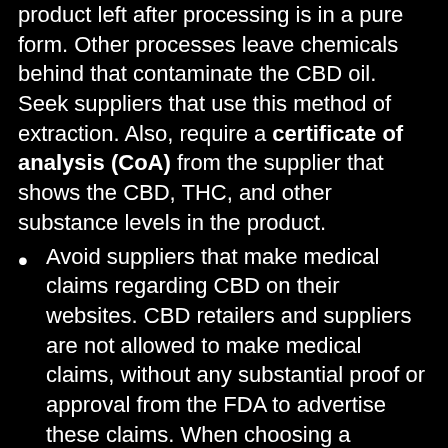product left after processing is in a pure form. Other processes leave chemicals behind that contaminate the CBD oil. Seek suppliers that use this method of extraction. Also, require a certificate of analysis (CoA) from the supplier that shows the CBD, THC, and other substance levels in the product.
Avoid suppliers that make medical claims regarding CBD on their websites. CBD retailers and suppliers are not allowed to make medical claims, without any substantial proof or approval from the FDA to advertise these claims. When choosing a supplier, look for the FDA's disclaimer on their website.
When it comes to price, remember: Avoid suppliers who sell CBD at extremely low prices. In most cases, the quality of the